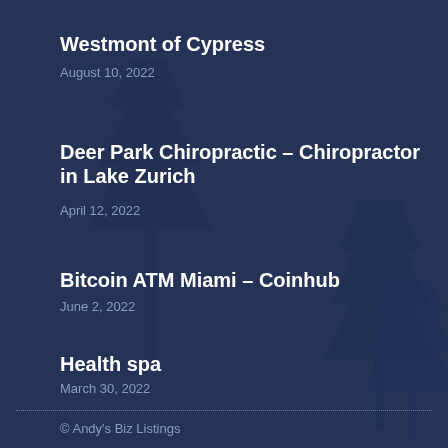Westmont of Cypress
August 10, 2022
Deer Park Chiropractic – Chiropractor in Lake Zurich
April 12, 2022
Bitcoin ATM Miami – Coinhub
June 2, 2022
Health spa
March 30, 2022
© Andy's Biz Listings